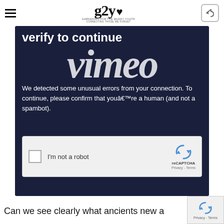g2y [logo with heart icon] — GARDENING FOR THE MUDDY YOUTH
[Figure (screenshot): Screenshot of a Vimeo CAPTCHA verification page embedded on a dark navy background. Shows 'verify to continue' heading, large 'vimeo' logo overlay, body text about confirming you're not a spambot, and a reCAPTCHA 'I'm not a robot' checkbox widget.]
Can we see clearly what ancients new a